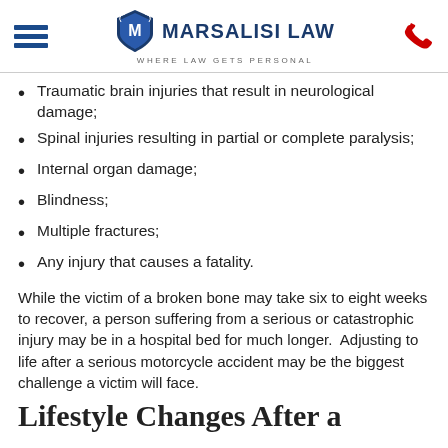Marsalisi Law — Where Law Gets Personal
Traumatic brain injuries that result in neurological damage;
Spinal injuries resulting in partial or complete paralysis;
Internal organ damage;
Blindness;
Multiple fractures;
Any injury that causes a fatality.
While the victim of a broken bone may take six to eight weeks to recover, a person suffering from a serious or catastrophic injury may be in a hospital bed for much longer.  Adjusting to life after a serious motorcycle accident may be the biggest challenge a victim will face.
Lifestyle Changes After a